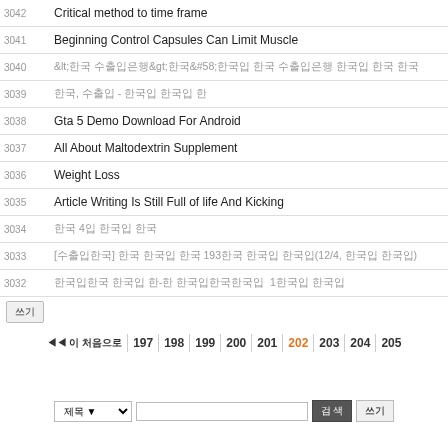| 번호 | 제목 |
| --- | --- |
| 3042 | Critical method to time frame |
| 3041 | Beginning Control Capsules Can Limit Muscle |
| 3040 | &lt;한국 수출입은행&gt;한국&#58;수출입 한국 수출입은행 한국입 한국 한국 |
| 3039 | 한국, 수출입 - 한국입 한국입 한 |
| 3038 | Gta 5 Demo Download For Android |
| 3037 | All About Maltodextrin Supplement |
| 3036 | Weight Loss |
| 3035 | Article Writing Is Still Full of life And Kicking |
| 3034 | 한국 4입 한국입 한국 |
| 3033 | [수출입한국] 한국 한국입 한국 193한국 한국입 한국입(12/4, 한국입 한국입) |
| 3032 | 한국입한국 한국입 한-한 한국입한국한국입  1한국입 한국입 |
쓰기
◀◀ 이 처음으로 | 197 | 198 | 199 | 200 | 201 | 202 | 203 | 204 | 205